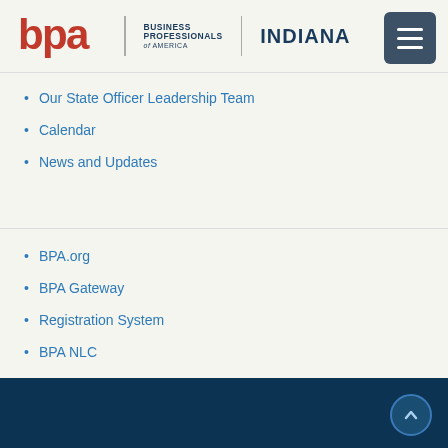BPA Business Professionals of America | INDIANA
Our State Officer Leadership Team
Calendar
News and Updates
BPA.org
BPA Gateway
Registration System
BPA NLC
Shop BPA
Join BPA